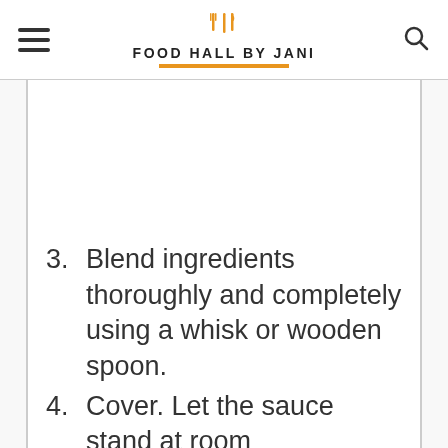Food Hall by Jani
3. Blend ingredients thoroughly and completely using a whisk or wooden spoon.
4. Cover. Let the sauce stand at room temperature for 30 minutes if you plan on using the